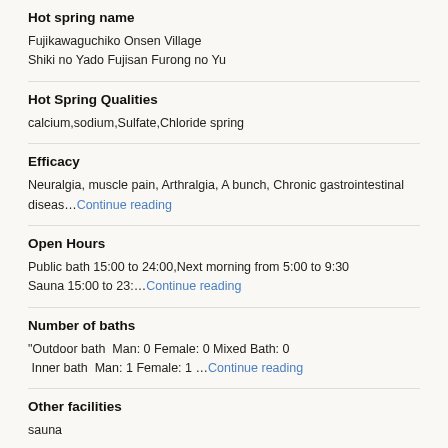Hot spring name
Fujikawaguchiko Onsen Village
Shiki no Yado Fujisan Furong no Yu
Hot Spring Qualities
calcium,sodium,Sulfate,Chloride spring
Efficacy
Neuralgia, muscle pain, Arthralgia, A bunch, Chronic gastrointestinal diseas….Continue reading
Open Hours
Public bath 15:00 to 24:00,Next morning from 5:00 to 9:30
Sauna 15:00 to 23:….Continue reading
Number of baths
"Outdoor bath　Man: 0 Female: 0 Mixed Bath: 0
　Inner bath　Man: 1 Female: 1 ….Continue reading
Other facilities
sauna